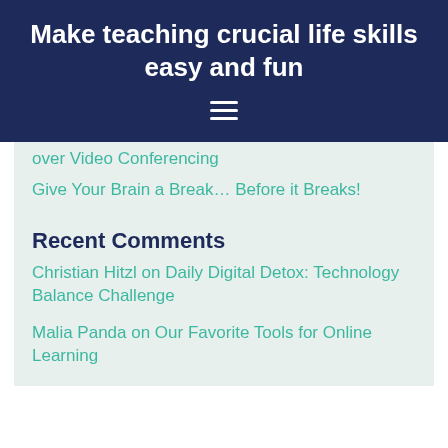Make teaching crucial life skills easy and fun
over Video Conferencing
Give Your Brain a Break… Before it Breaks!
Recent Comments
Christian Hitzl on Daily Digital Detox: Technology Balance Challenge
Malia Panda on Our Favorite Tools for Online Learning